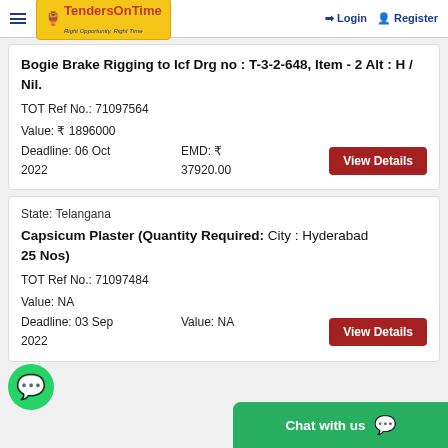TendersOnTime — Login | Register
Bogie Brake Rigging to Icf Drg no : T-3-2-648, Item - 2 Alt : H / Nil.
TOT Ref No.: 71097564
Value: ₹ 1896000
Deadline: 06 Oct 2022   EMD: ₹ 37920.00
State: Telangana
Capsicum Plaster (Quantity Required: 25 Nos)   City : Hyderabad
TOT Ref No.: 71097484
Value: NA
Deadline: 03 Sep 2022   Value: NA